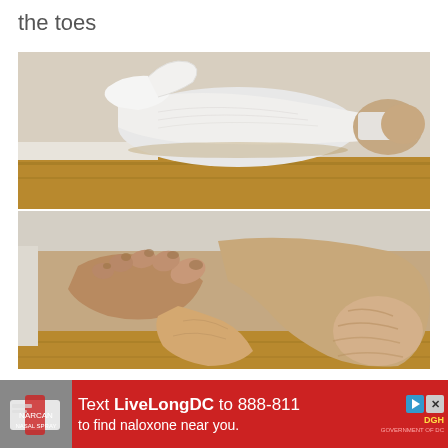the toes
[Figure (photo): Photo of a foot resting on a wooden surface, wearing a white compression sock or stocking that is bunched up and pulled back from the toes, revealing the foot inside.]
[Figure (photo): Close-up photo of a bare foot showing curled, contracted toes (claw toes or hammer toes deformity) and the sole/heel of the foot, resting on a wooden surface near a white baseboard.]
[Figure (photo): Advertisement banner: red background with text 'Text LiveLongDC to 888-811 to find naloxone near you.' with DGH logo and play/close icons. Left side shows a partial photo of a naloxone kit.]